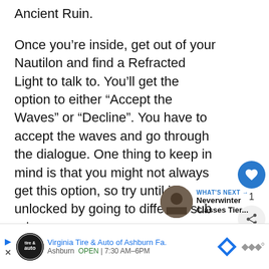Ancient Ruin.
Once you’re inside, get out of your Nautilon and find a Refracted Light to talk to. You’ll get the option to either “Accept the Waves” or “Decline”. You have to accept the waves and go through the dialogue. One thing to keep in mind is that you might not always get this option, so try until it’s unlocked by going to different sub ruins.
[Figure (infographic): Like button (heart icon) with count of 1 and share button]
[Figure (infographic): What's Next arrow link with thumbnail image and text: Neverwinter Classes Tier...]
[Figure (infographic): Advertisement banner for Virginia Tire & Auto of Ashburn Fa., Ashburn, OPEN 7:30AM-6PM]